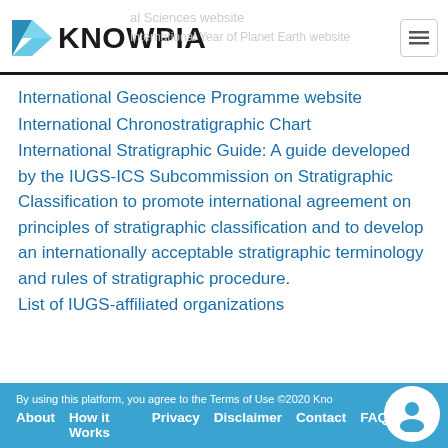KNOWPIA — International Geosciences website / International Year of Planet Earth website
International Geoscience Programme website
International Chronostratigraphic Chart
International Stratigraphic Guide: A guide developed by the IUGS-ICS Subcommission on Stratigraphic Classification to promote international agreement on principles of stratigraphic classification and to develop an internationally acceptable stratigraphic terminology and rules of stratigraphic procedure.
List of IUGS-affiliated organizations
By using this platform, you agree to the Terms of Use ©2020 Knowpia | About | How it Works | Privacy | Disclaimer | Contact | FAQ